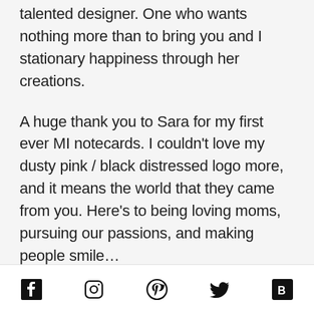talented designer. One who wants nothing more than to bring you and I stationary happiness through her creations.
A huge thank you to Sara for my first ever MI notecards. I couldn't love my dusty pink / black distressed logo more, and it means the world that they came from you. Here's to being loving moms, pursuing our passions, and making people smile…
------
What inspired you to launch your business in 2009?
[Figure (other): Back to top button - grey square with upward chevron arrow]